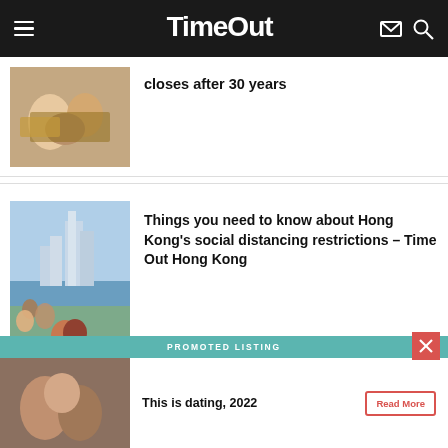Time Out
closes after 30 years
Things you need to know about Hong Kong's social distancing restrictions – Time Out Hong Kong
[Figure (photo): Partial photo of a restaurant or food gathering scene — bottom ad banner showing promoted listing: This is dating, 2022]
PROMOTED LISTING
This is dating, 2022
Read More